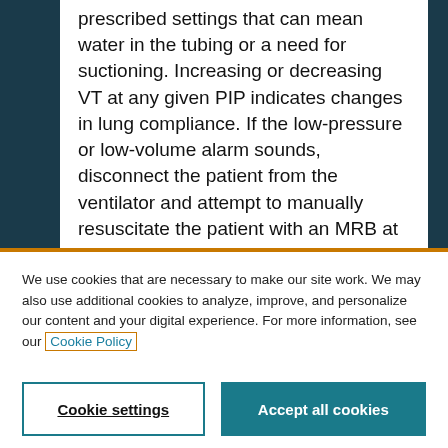and watch for changes and fluctuations in prescribed settings that can mean water in the tubing or a need for suctioning. Increasing or decreasing VT at any given PIP indicates changes in lung compliance. If the low-pressure or low-volume alarm sounds, disconnect the patient from the ventilator and attempt to manually resuscitate the patient with an MRB at the
We use cookies that are necessary to make our site work. We may also use additional cookies to analyze, improve, and personalize our content and your digital experience. For more information, see our Cookie Policy
Cookie settings
Accept all cookies